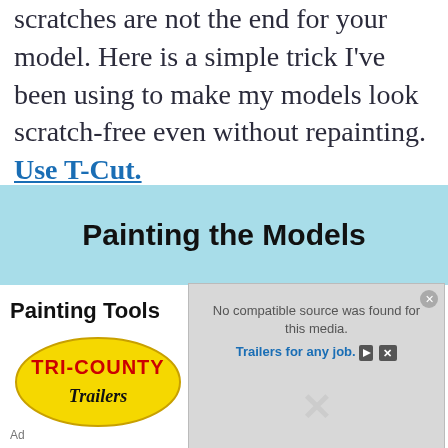scratches are not the end for your model. Here is a simple trick I've been using to make my models look scratch-free even without repainting. Use T-Cut.
Painting the Models
Painting Tools
[Figure (other): Tri-County Trailers logo — yellow oval with red TRI-COUNTY text and black Trailers script, with a media player overlay showing 'No compatible source was found for this media.' and 'Trailers for any job.' ad text]